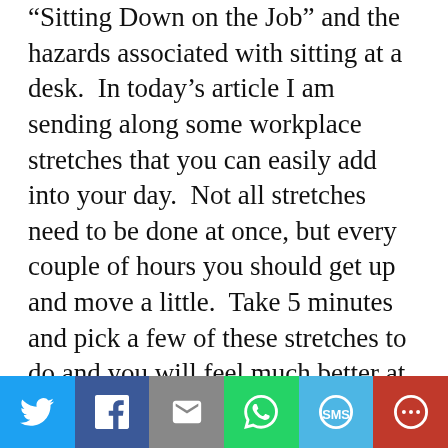“Sitting Down on the Job” and the hazards associated with sitting at a desk.  In today’s article I am sending along some workplace stretches that you can easily add into your day.  Not all stretches need to be done at once, but every couple of hours you should get up and move a little.  Take 5 minutes and pick a few of these stretches to do and you will feel much better at the end of your work day.
WORKPLACE STRETCHES
[Figure (other): Social sharing bar with Twitter, Facebook, Email, WhatsApp, SMS, and More buttons]